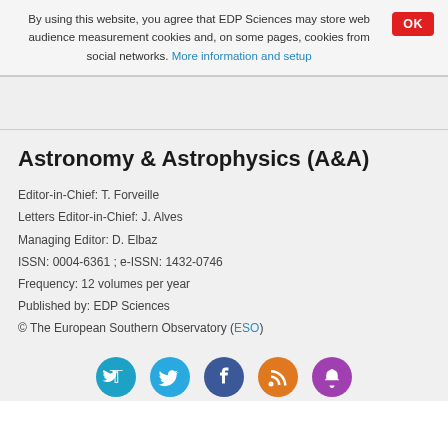By using this website, you agree that EDP Sciences may store web audience measurement cookies and, on some pages, cookies from social networks. More information and setup
Astronomy & Astrophysics (A&A)
Editor-in-Chief: T. Forveille
Letters Editor-in-Chief: J. Alves
Managing Editor: D. Elbaz
ISSN: 0004-6361 ; e-ISSN: 1432-0746
Frequency: 12 volumes per year
Published by: EDP Sciences
© The European Southern Observatory (ESO)
[Figure (illustration): Row of four social media icons: Twitter (teal circle), Facebook (dark blue circle), RSS feed (orange circle), Notification bell (purple circle)]